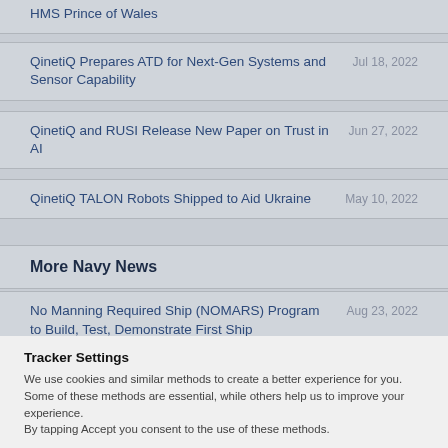HMS Prince of Wales
QinetiQ Prepares ATD for Next-Gen Systems and Sensor Capability  Jul 18, 2022
QinetiQ and RUSI Release New Paper on Trust in AI  Jun 27, 2022
QinetiQ TALON Robots Shipped to Aid Ukraine  May 10, 2022
More Navy News
No Manning Required Ship (NOMARS) Program to Build, Test, Demonstrate First Ship  Aug 23, 2022
Tracker Settings
We use cookies and similar methods to create a better experience for you. Some of these methods are essential, while others help us to improve your experience.
By tapping Accept you consent to the use of these methods.